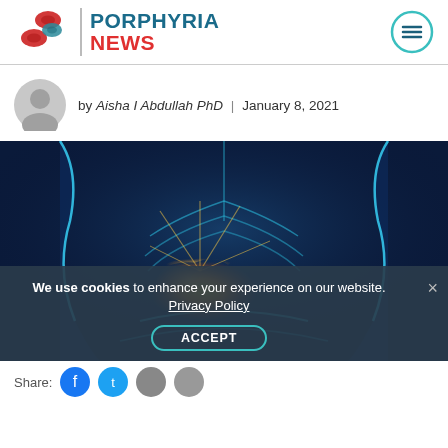PORPHYRIA NEWS
by Aisha I Abdullah PhD | January 8, 2021
[Figure (illustration): Medical illustration of a glowing orange liver highlighted inside a human torso with blue anatomical body rendering]
We use cookies to enhance your experience on our website. Privacy Policy ACCEPT